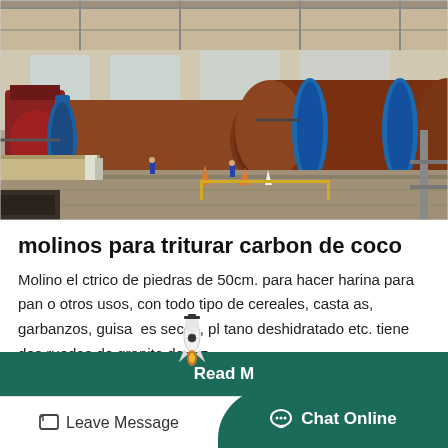[Figure (photo): Industrial facility interior showing large cylindrical grinding mill machines with blue frames/collars and brown/rust colored drums, with workers visible on the floor]
molinos para triturar carbon de coco
Molino el ctrico de piedras de 50cm. para hacer harina para pan o otros usos, con todo tipo de cereales, casta as, garbanzos, guisa es secos, pl tano deshidratado etc. tiene dos ruedas de granito de 1 z...
Read M
Leave Message
Chat Online